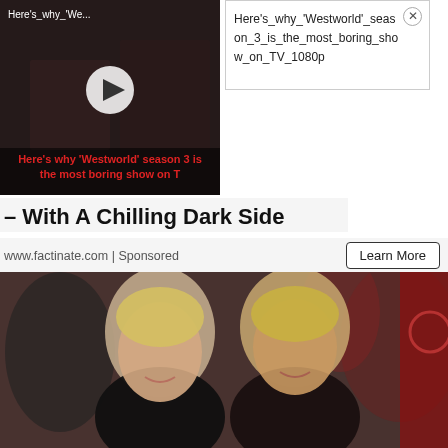[Figure (screenshot): Video thumbnail showing 'Here's why Westworld season 3 is the most boring show on TV' with a play button overlay]
Here's_why_'Westworld'_season_3_is_the_most_boring_show_on_TV_1080p
– With A Chilling Dark Side
www.factinate.com | Sponsored
Learn More
[Figure (photo): Two blonde women smiling at a red carpet event, dressed in dark evening wear]